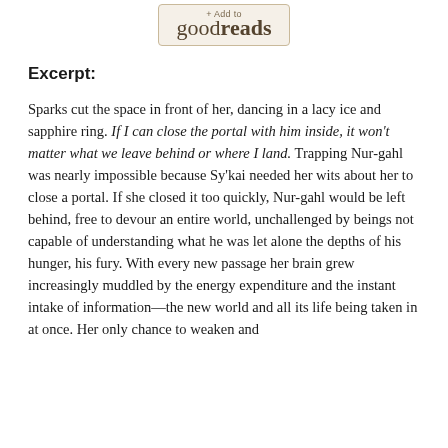[Figure (logo): + Add to goodreads button/badge with rounded rectangle border]
Excerpt:
Sparks cut the space in front of her, dancing in a lacy ice and sapphire ring. If I can close the portal with him inside, it won't matter what we leave behind or where I land. Trapping Nur-gahl was nearly impossible because Sy'kai needed her wits about her to close a portal. If she closed it too quickly, Nur-gahl would be left behind, free to devour an entire world, unchallenged by beings not capable of understanding what he was let alone the depths of his hunger, his fury. With every new passage her brain grew increasingly muddled by the energy expenditure and the instant intake of information—the new world and all its life being taken in at once. Her only chance to weaken and